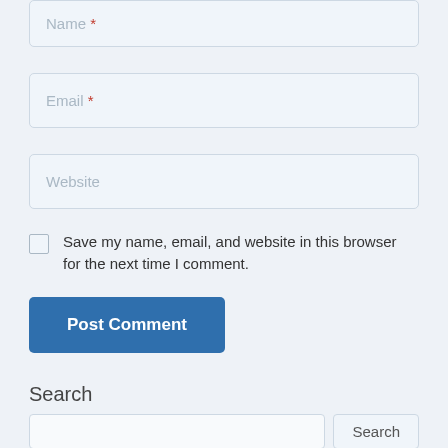[Figure (screenshot): A web comment form showing Name input field (partially visible at top), Email input field, Website input field, a checkbox with label 'Save my name, email, and website in this browser for the next time I comment.', a 'Post Comment' button, a 'Search' section header, and a search input with Search button at the bottom.]
Name *
Email *
Website
Save my name, email, and website in this browser for the next time I comment.
Post Comment
Search